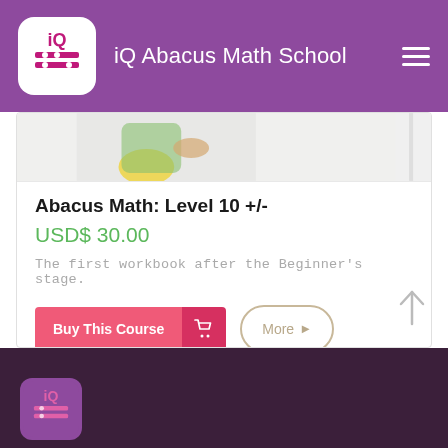iQ Abacus Math School
[Figure (illustration): Partial illustration of abacus/math themed cartoon image, cropped at top]
Abacus Math: Level 10 +/-
USD$ 30.00
The first workbook after the Beginner's stage.
Buy This Course
More >